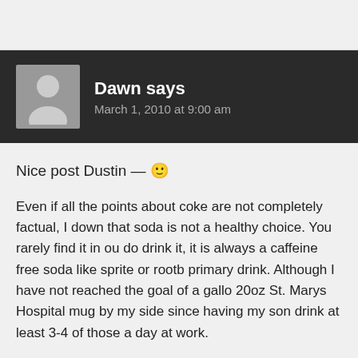Dawn says
March 1, 2010 at 9:00 am
Nice post Dustin — 🙂
Even if all the points about coke are not completely factual, I down that soda is not a healthy choice. You rarely find it in ou do drink it, it is always a caffeine free soda like sprite or rootb primary drink. Although I have not reached the goal of a gallo 20oz St. Marys Hospital mug by my side since having my son drink at least 3-4 of those a day at work.
Here is another fun way to spruce up your water. Add a fresh